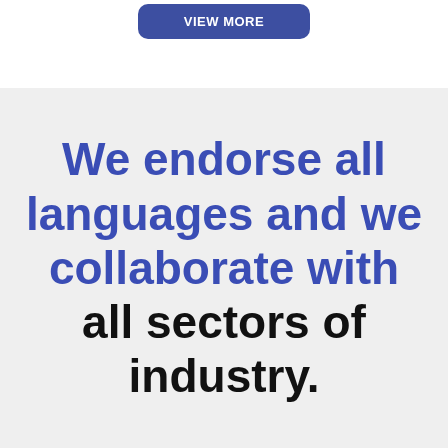[Figure (other): A rounded rectangle button with dark blue/indigo background and white text reading 'VIEW MORE']
We endorse all languages and we collaborate with all sectors of industry.